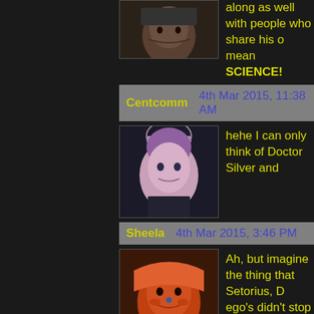along as well with people who share his o... mean SCIENCE!
Centcomm   4th Mar 2015, 11:38 AM
hehe I can only think of Doctor Silver and...
Sheela   4th Mar 2015, 3:46 PM
Ah, but imagine the thing that Setorius, D... ego's didn't stop them from working toget...
Tokyo Rose   4th Mar 2015, 4:54 PM
Dr. Silver and Calli work on androids, Set... of cross-training there. :D
Lukkai   4th Mar 2015, 6:27 PM
*throws arms*
YOU'RE JUST NOT IMAGINATIVE ENOUGH!